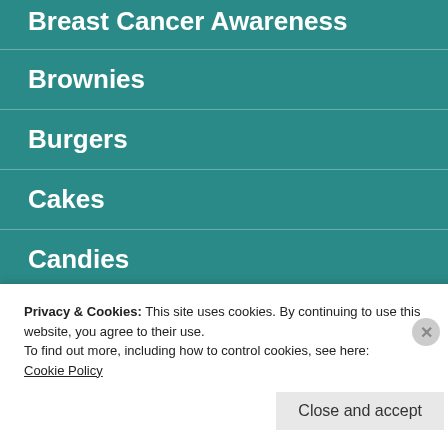Breast Cancer Awareness
Brownies
Burgers
Cakes
Candies
Catering
chicken
Privacy & Cookies: This site uses cookies. By continuing to use this website, you agree to their use.
To find out more, including how to control cookies, see here: Cookie Policy
Close and accept